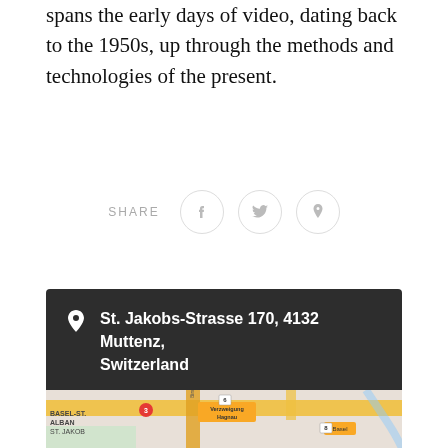spans the early days of video, dating back to the 1950s, up through the methods and technologies of the present.
SHARE
[Figure (infographic): Social share buttons: Facebook, Twitter, Pinterest icons in circular borders]
St. Jakobs-Strasse 170, 4132 Muttenz, Switzerland
[Figure (map): Google Maps view showing Basel-St. Alban / St. Jakob area with roads including Birseckstrasse, Verzweigung Hagnau intersection, route markers 3, 6, 18, and Basel label]